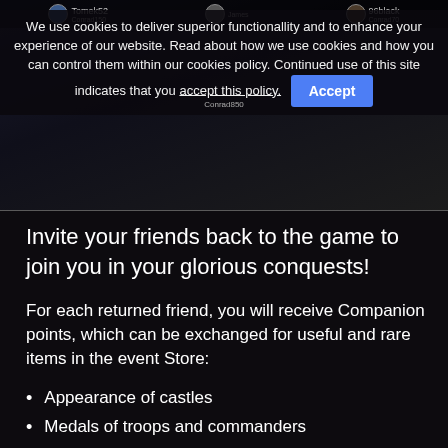[Figure (screenshot): Game screenshot showing player avatars and names (Tomek52, 96black, Conrad150, Conrad70, James, Conrad850) in a dark game interface with cookie consent banner overlay]
We use cookies to deliver superior functionallity and to enhance your experience of our website. Read about how we use cookies and how you can control them within our cookies policy. Continued use of this site indicates that you accept this policy. [Accept button]
Invite your friends back to the game to join you in your glorious conquests!
For each returned friend, you will receive Companion points, which can be exchanged for useful and rare items in the event Store:
Appearance of castles
Medals of troops and commanders
Accelerators
Honor banner
Resources
and more